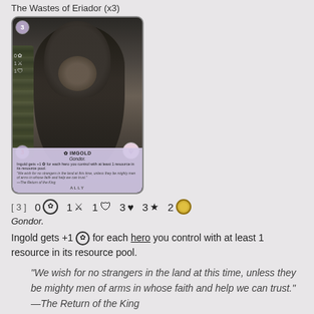The Wastes of Eriador (x3)
[Figure (illustration): Card image for Ingold, a Gondor ally card from Lord of the Rings card game. Shows a cloaked figure. Stats: cost 3, willpower 0, attack 1, defense 1, threat 3, HP 3, resource 2. Card text: Ingold gets +1 willpower for each hero you control with at least 1 resource in its resource pool.]
[ 3 ]  0☆  1⚔  1🛡  3♥  3★  2💰
Gondor.
Ingold gets +1 ✿ for each hero you control with at least 1 resource in its resource pool.
"We wish for no strangers in the land at this time, unless they be mighty men of arms in whose faith and help we can trust." —The Return of the King
Honour Guard
The Wastes of Eriador (x3)
[Figure (illustration): Partial card image for Honour Guard, a Tactics card from Lord of the Rings card game. Shows armored soldier. Cost 2 visible.]